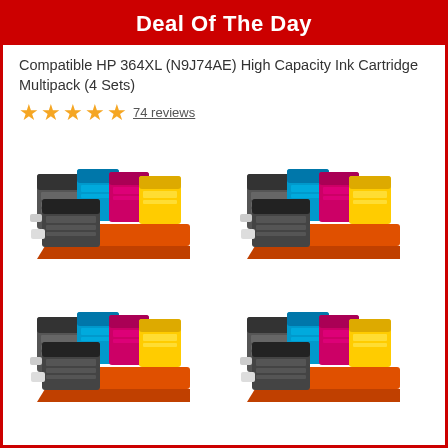Deal Of The Day
Compatible HP 364XL (N9J74AE) High Capacity Ink Cartridge Multipack (4 Sets)
★★★★★ 74 reviews
[Figure (photo): Four sets of HP 364XL compatible ink cartridge multipacks, each containing black, cyan, magenta, and yellow cartridges, arranged in a 2x2 grid. The cartridges are stacked together with an orange packaging base visible.]